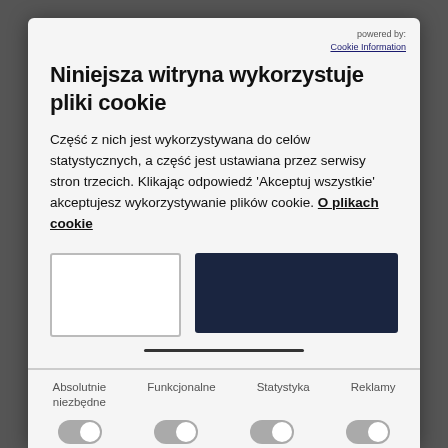powered by: Cookie Information
Niniejsza witryna wykorzystuje pliki cookie
Część z nich jest wykorzystywana do celów statystycznych, a część jest ustawiana przez serwisy stron trzecich. Klikając odpowiedź 'Akceptuj wszystkie' akceptujesz wykorzystywanie plików cookie. O plikach cookie
[Figure (screenshot): Two buttons: outlined white button and dark navy blue button]
Absolutnie niezbędne | Funkcjonalne | Statystyka | Reklamy
[Figure (screenshot): Four toggle switches in off/grey state]
✓ HSEQ system certificate | ✓ Product certificate